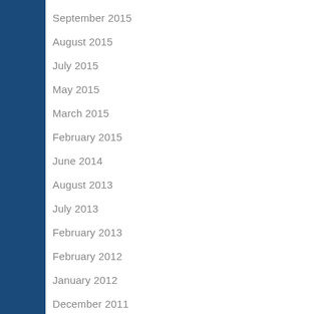September 2015
August 2015
July 2015
May 2015
March 2015
February 2015
June 2014
August 2013
July 2013
February 2013
February 2012
January 2012
December 2011
November 2011